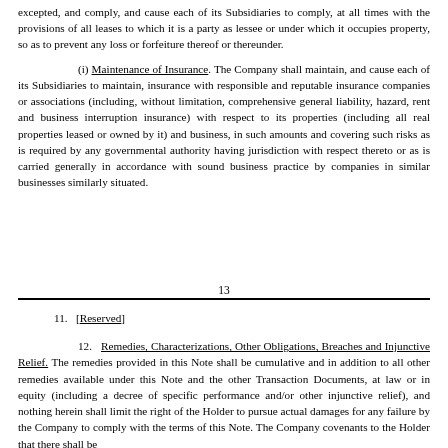excepted, and comply, and cause each of its Subsidiaries to comply, at all times with the provisions of all leases to which it is a party as lessee or under which it occupies property, so as to prevent any loss or forfeiture thereof or thereunder.
(i) Maintenance of Insurance. The Company shall maintain, and cause each of its Subsidiaries to maintain, insurance with responsible and reputable insurance companies or associations (including, without limitation, comprehensive general liability, hazard, rent and business interruption insurance) with respect to its properties (including all real properties leased or owned by it) and business, in such amounts and covering such risks as is required by any governmental authority having jurisdiction with respect thereto or as is carried generally in accordance with sound business practice by companies in similar businesses similarly situated.
13
11.   [Reserved]
12.   Remedies, Characterizations, Other Obligations, Breaches and Injunctive Relief. The remedies provided in this Note shall be cumulative and in addition to all other remedies available under this Note and the other Transaction Documents, at law or in equity (including a decree of specific performance and/or other injunctive relief), and nothing herein shall limit the right of the Holder to pursue actual damages for any failure by the Company to comply with the terms of this Note. The Company covenants to the Holder that there shall be